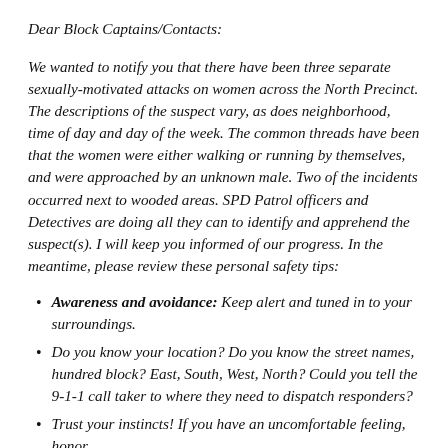Dear Block Captains/Contacts:
We wanted to notify you that there have been three separate sexually-motivated attacks on women across the North Precinct. The descriptions of the suspect vary, as does neighborhood, time of day and day of the week. The common threads have been that the women were either walking or running by themselves, and were approached by an unknown male. Two of the incidents occurred next to wooded areas. SPD Patrol officers and Detectives are doing all they can to identify and apprehend the suspect(s). I will keep you informed of our progress. In the meantime, please review these personal safety tips:
Awareness and avoidance: Keep alert and tuned in to your surroundings.
Do you know your location? Do you know the street names, hundred block? East, South, West, North? Could you tell the 9-1-1 call taker to where they need to dispatch responders?
Trust your instincts! If you have an uncomfortable feeling, honor...